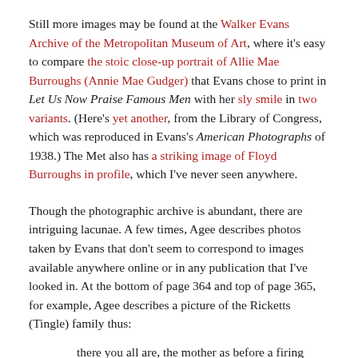Still more images may be found at the Walker Evans Archive of the Metropolitan Museum of Art, where it's easy to compare the stoic close-up portrait of Allie Mae Burroughs (Annie Mae Gudger) that Evans chose to print in Let Us Now Praise Famous Men with her sly smile in two variants. (Here's yet another, from the Library of Congress, which was reproduced in Evans's American Photographs of 1938.) The Met also has a striking image of Floyd Burroughs in profile, which I've never seen anywhere.
Though the photographic archive is abundant, there are intriguing lacunae. A few times, Agee describes photos taken by Evans that don't seem to correspond to images available anywhere online or in any publication that I've looked in. At the bottom of page 364 and top of page 365, for example, Agee describes a picture of the Ricketts (Tingle) family thus:
there you all are, the mother as before a firing